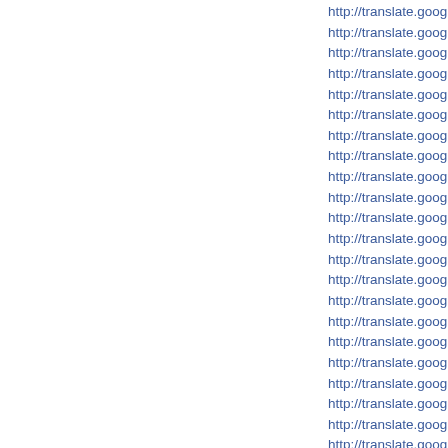http://translate.google.com.by/translate?hl=en&sl=id&t
http://translate.google.com.bz/translate?hl=en&sl=id&t
http://translate.google.ca/translate?hl=en&sl=id&tl=en&
http://translate.google.cc/translate?hl=en&sl=id&tl=en&
http://translate.google.cd/translate?hl=en&sl=id&tl=en&
http://translate.google.cf/translate?hl=en&sl=id&tl=en&
http://translate.google.cg/translate?hl=en&sl=id&tl=en&
http://translate.google.ch/translate?hl=en&sl=id&tl=en&
http://translate.google.ci/translate?hl=en&sl=id&tl=en&
http://translate.google.co.ck/translate?hl=en&sl=id&tl=e
http://translate.google.cl/translate?hl=en&sl=id&tl=en&
http://translate.google.cn/translate?hl=en&sl=id&tl=en&
http://translate.google.com.co/translate?hl=en&sl=id&tl
http://translate.google.co.cr/translate?hl=en&sl=id&tl=e
http://translate.google.com.cu/translate?hl=en&sl=id&tl
http://translate.google.cz/translate?hl=en&sl=id&tl=en&
http://translate.google.de/translate?hl=en&sl=id&tl=en&
http://translate.google.dj/translate?hl=en&sl=id&tl=en&
http://translate.google.dk/translate?hl=en&sl=id&tl=en&
http://translate.google.dm/translate?hl=en&sl=id&tl=en
http://translate.google.com.do/translate?hl=en&sl=id&tl
http://translate.google.dz/translate?hl=en&sl=id&tl=en&
http://translate.google.com.ec/translate?hl=en&sl=id&tl
http://translate.google.ee/translate?hl=en&sl=id&tl=en&
http://translate.google.com.eg/translate?hl=en&sl=id&tl
http://translate.google.es/translate?hl=en&sl=id&tl=en&
http://translate.google.com.et/translate?hl=en&sl=id&tl